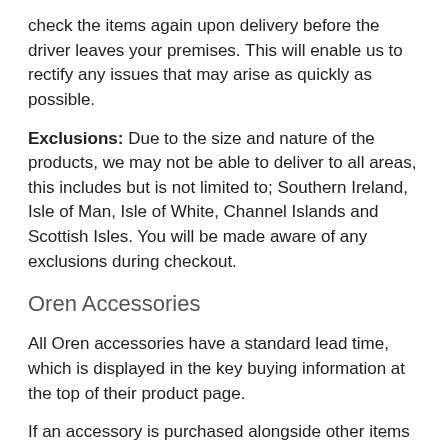check the items again upon delivery before the driver leaves your premises. This will enable us to rectify any issues that may arise as quickly as possible.
Exclusions: Due to the size and nature of the products, we may not be able to deliver to all areas, this includes but is not limited to; Southern Ireland, Isle of Man, Isle of White, Channel Islands and Scottish Isles. You will be made aware of any exclusions during checkout.
Oren Accessories
All Oren accessories have a standard lead time, which is displayed in the key buying information at the top of their product page.
If an accessory is purchased alongside other items we may deliver all items together. In which case please refer to the longest lead time on your order.
This delivery method refers to Oren products such as furniture covers, barbecues, fire pits and smaller parasols.
Please Note: Next Day services apply when ordered before 2PM on a Monday to Friday (excluding bank holidays, UK...